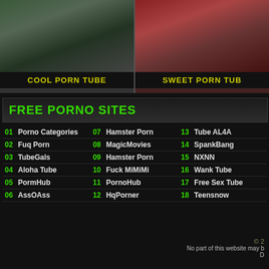[Figure (photo): Thumbnail image left - adult content]
COOL PORN TUBE
[Figure (photo): Thumbnail image right - adult content]
SWEET PORN TUB
FREE PORNO SITES
01 Porno Categories
02 Fuq Porn
03 TubeGals
04 Aloha Tube
05 PormHub
06 AssOAss
07 Hamster Porn
08 MagicMovies
09 Hamster Porn
10 Fuck MiMiMi
11 PornoHub
12 HqPorner
13 Tube AL4A
14 SpankBang
15 NXNN
16 Wank Tube
17 Free Sex Tube
18 Teensnow
© 2 No part of this website may b D